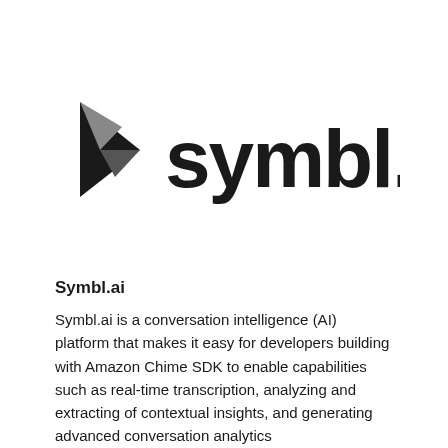[Figure (logo): Symbl.ai logo with geometric arrow/star shape in dark gray and the text 'symbl.ai' in bold black sans-serif font]
Symbl.ai
Symbl.ai is a conversation intelligence (AI) platform that makes it easy for developers building with Amazon Chime SDK to enable capabilities such as real-time transcription, analyzing and extracting of contextual insights, and generating advanced conversation analytics